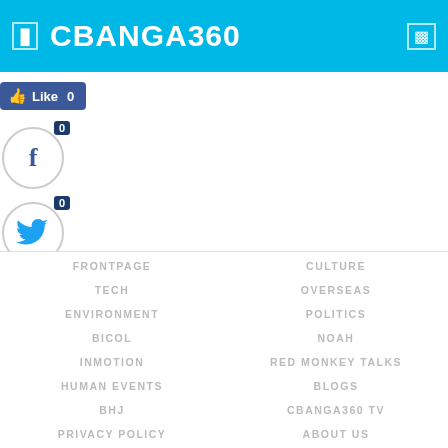CBANGA360
[Figure (screenshot): Social sharing widget with Like button (0 likes), Facebook share (0), Twitter share (0), Tumblr share (0), Print, Email icons, and 0 Shares counter with back arrow]
FRONTPAGE | CULTURE | TECH | OVERSEAS | ENVIRONMENT | POLITICS | BICOL | NOAH | INMOTION | RED MONKEY TALKS | HUMAN EVENTS | BLOGS | BHJ | CBANGA360 TV | PRIVACY POLICY | ABOUT US